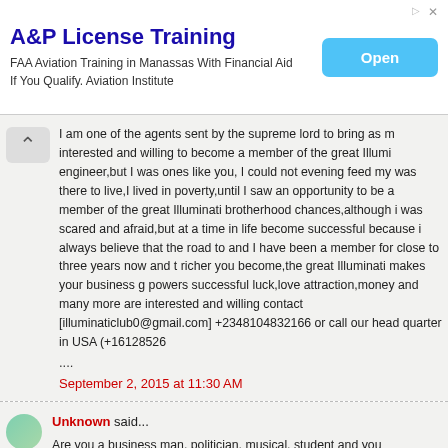[Figure (screenshot): Advertisement banner for A&P License Training with Open button]
I am one of the agents sent by the supreme lord to bring as m interested and willing to become a member of the great Illumi engineer,but I was ones like you, I could not evening feed my was there to live,I lived in poverty,until I saw an opportunity to be a member of the great Illuminati brotherhood chances,although i was scared and afraid,but at a time in life become successful because i always believe that the road to and I have been a member for close to three years now and t richer you become,the great Illuminati makes your business g powers successful luck,love attraction,money and many more are interested and willing contact [illuminaticlub0@gmail.com] +2348104832166 or call our head quarter in USA (+16128526 ....
September 2, 2015 at 11:30 AM
Unknown said...
Are you a business man, politician, musical, student and you